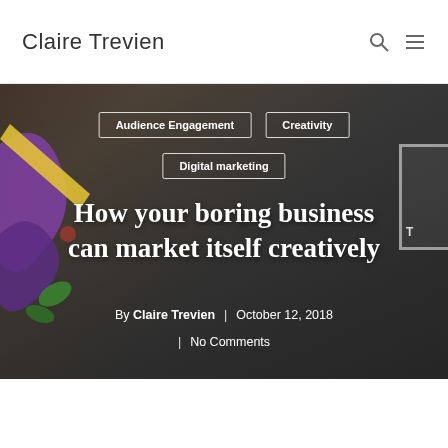Claire Trevien
[Figure (photo): Hero image of business people in suits looking at documents, with a colorful illustrated graphic (purple, yellow, green shapes) overlaid on the left side. Dark overlay tints the photo.]
Audience Engagement
Creativity
Digital marketing
How your boring business can market itself creatively
By Claire Trevien | October 12, 2018
| No Comments